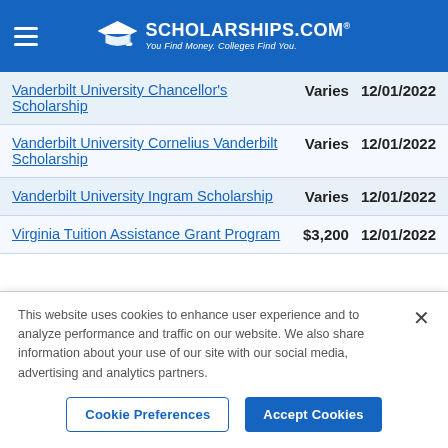SCHOLARSHIPS.COM® — You Find Money. Colleges Find You.
| Scholarship Name | Amount | Deadline |
| --- | --- | --- |
| Vanderbilt University Chancellor's Scholarship | Varies | 12/01/2022 |
| Vanderbilt University Cornelius Vanderbilt Scholarship | Varies | 12/01/2022 |
| Vanderbilt University Ingram Scholarship | Varies | 12/01/2022 |
| Virginia Tuition Assistance Grant Program | $3,200 | 12/01/2022 |
This website uses cookies to enhance user experience and to analyze performance and traffic on our website. We also share information about your use of our site with our social media, advertising and analytics partners.
Cookie Preferences | Accept Cookies